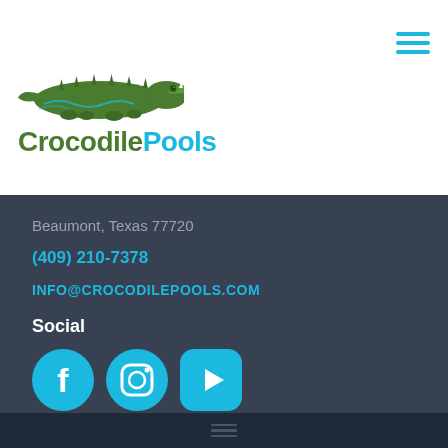[Figure (logo): Crocodile Pools logo with green crocodile illustration above bold text reading 'Crocodile Pools' in green and blue]
Beaumont, Texas 77720
(409) 210-7378
INFO@CROCODILEPOOLS.COM
Social
[Figure (infographic): Three social media icons: Facebook (f logo), Instagram (camera logo), YouTube (play button logo) — all in cyan/blue circular buttons]